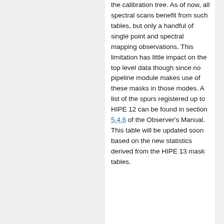the calibration tree. As of now, all spectral scans benefit from such tables, but only a handful of single point and spectral mapping observations. This limitation has little impact on the top level data though since no pipeline module makes use of these masks in those modes. A list of the spurs registered up to HIPE 12 can be found in section 5.4.6 of the Observer's Manual. This table will be updated soon based on the new statistics derived from the HIPE 13 mask tables.